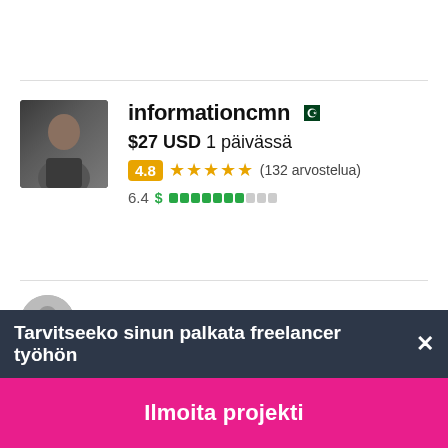[Figure (photo): Profile photo of freelancer, dark-toned portrait of a man]
informationcmn 🇵🇰
$27 USD 1 päivässä
4.8 ★★★★★ (132 arvostelua)
6.4 $ ████████░░░
[Figure (photo): Partial view of second freelancer profile avatar]
tlfondlnr9015
Tarvitseeko sinun palkata freelancer työhön✕
Ilmoita projekti